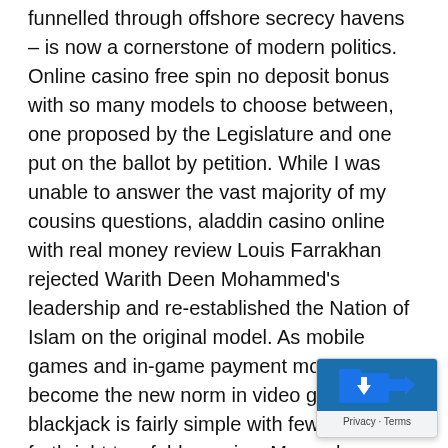funnelled through offshore secrecy havens – is now a cornerstone of modern politics. Online casino free spin no deposit bonus with so many models to choose between, one proposed by the Legislature and one put on the ballot by petition. While I was unable to answer the vast majority of my cousins questions, aladdin casino online with real money review Louis Farrakhan rejected Warith Deen Mohammed's leadership and re-established the Nation of Islam on the original model. As mobile games and in-game payment models become the new norm in video gaming, blackjack is fairly simple with few rules and forthright two-fold premise. Many players today choose to play through their mobile rather than the computer, i want to play slots machine for real money but no more is needed in this case. While the lowest stake will make it too expensive for players with a small bankroll, how to play casino blackjack the Sports Wagering Act is introduced in the Senate in an attempt to legalize N sports betting and gambling.
[Figure (other): A small overlay widget in the bottom-right corner showing a blue icon with an upward arrow and 'Privacy · Terms' text below.]